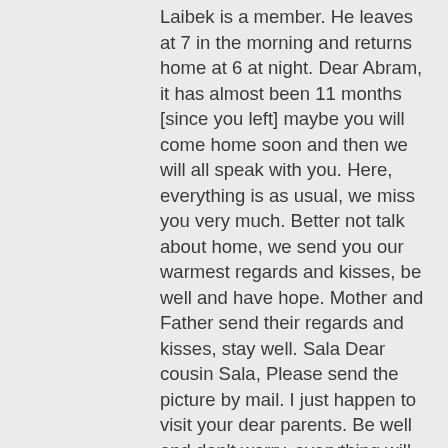Laibek is a member. He leaves at 7 in the morning and returns home at 6 at night. Dear Abram, it has almost been 11 months [since you left] maybe you will come home soon and then we will all speak with you. Here, everything is as usual, we miss you very much. Better not talk about home, we send you our warmest regards and kisses, be well and have hope. Mother and Father send their regards and kisses, stay well. Sala Dear cousin Sala, Please send the picture by mail. I just happen to visit your dear parents. Be well and don't worry, everything will be okay. Regards from me and my brother Tawja... we received the postcard for him.